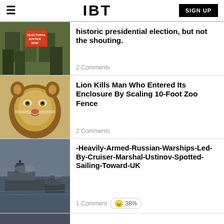IBT | SIGN UP
historic presidential election, but not the shouting.
2 Comments
Lion Kills Man Who Entered Its Enclosure By Scaling 10-Foot Zoo Fence
2 Comments
-Heavily-Armed-Russian-Warships-Led-By-Cruiser-Marshal-Ustinov-Spotted-Sailing-Toward-UK
1 Comment 38%